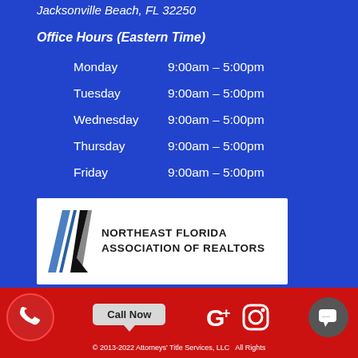Jacksonville Beach, FL 32250
Office Hours (Eastern Time)
Monday      9:00am – 5:00pm
Tuesday      9:00am – 5:00pm
Wednesday  9:00am – 5:00pm
Thursday     9:00am – 5:00pm
Friday          9:00am – 5:00pm
[Figure (logo): Northeast Florida Association of Realtors logo with three blue and black diagonal stripes and text NORTHEAST FLORIDA ASSOCIATION OF REALTORS]
© 2013-2022 Attorneys' Title Services, LLC  All Rights